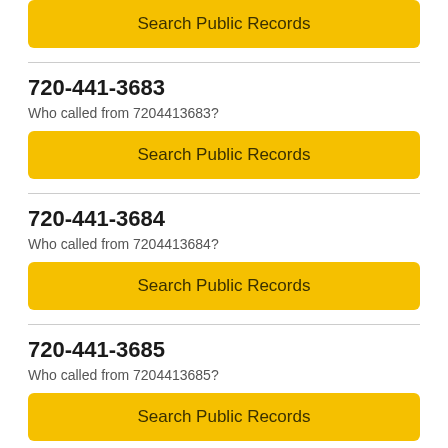Search Public Records
720-441-3683
Who called from 7204413683?
Search Public Records
720-441-3684
Who called from 7204413684?
Search Public Records
720-441-3685
Who called from 7204413685?
Search Public Records
720-441-3686